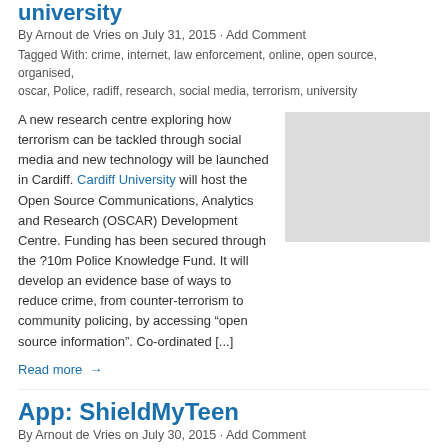university
By Arnout de Vries on July 31, 2015 · Add Comment
Tagged With: crime, internet, law enforcement, online, open source, organised, oscar, Police, radiff, research, social media, terrorism, university
A new research centre exploring how terrorism can be tackled through social media and new technology will be launched in Cardiff. Cardiff University will host the Open Source Communications, Analytics and Research (OSCAR) Development Centre. Funding has been secured through the ?10m Police Knowledge Fund. It will develop an evidence base of ways to reduce crime, from counter-terrorism to community policing, by accessing "open source information". Co-ordinated [...]
[Figure (photo): Thumbnail image placeholder for the university article]
Read more →
App: ShieldMyTeen
By Arnout de Vries on July 30, 2015 · Add Comment
Tagged With: app, control, internet, online, parental, ShieldMyTeen
As a parent, your options are very limited in respect to child-proofing the untamable beast that
[Figure (photo): Thumbnail image placeholder for the ShieldMyTeen article]